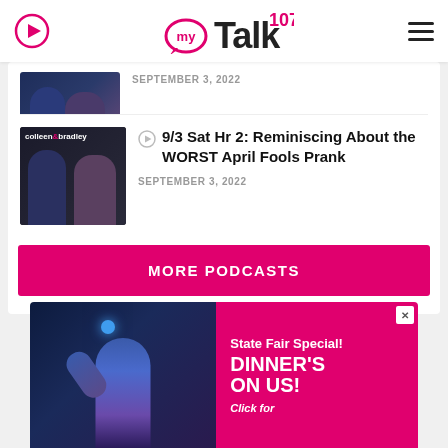myTalk 107.1
SEPTEMBER 3, 2022
[Figure (photo): Colleen and Bradley podcast thumbnail with text 'colleen & bradley']
9/3 Sat Hr 2: Reminiscing About the WORST April Fools Prank
SEPTEMBER 3, 2022
MORE PODCASTS
[Figure (photo): Advertisement: State Fair Special! DINNER'S ON US! Click for... with performer photo on left and pink background on right]